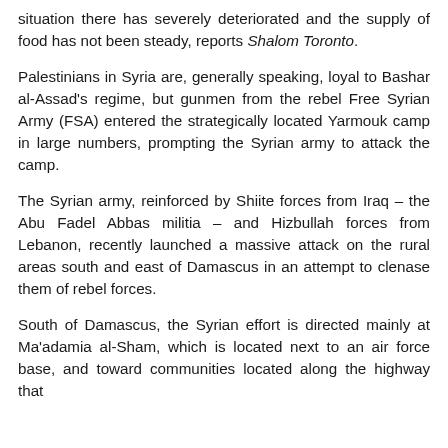situation there has severely deteriorated and the supply of food has not been steady, reports Shalom Toronto.
Palestinians in Syria are, generally speaking, loyal to Bashar al-Assad's regime, but gunmen from the rebel Free Syrian Army (FSA) entered the strategically located Yarmouk camp in large numbers, prompting the Syrian army to attack the camp.
The Syrian army, reinforced by Shiite forces from Iraq – the Abu Fadel Abbas militia – and Hizbullah forces from Lebanon, recently launched a massive attack on the rural areas south and east of Damascus in an attempt to clenase them of rebel forces.
South of Damascus, the Syrian effort is directed mainly at Ma'adamia al-Sham, which is located next to an air force base, and toward communities located along the highway that